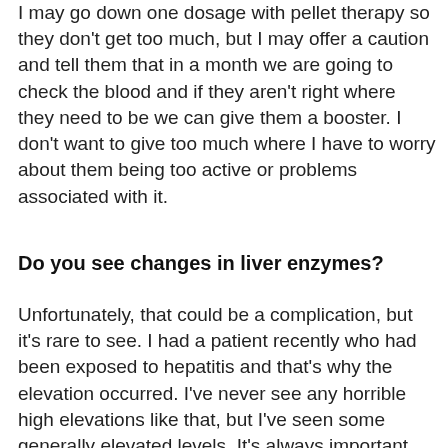I may go down one dosage with pellet therapy so they don't get too much, but I may offer a caution and tell them that in a month we are going to check the blood and if they aren't right where they need to be we can give them a booster. I don't want to give too much where I have to worry about them being too active or problems associated with it.
Do you see changes in liver enzymes?
Unfortunately, that could be a complication, but it's rare to see. I had a patient recently who had been exposed to hepatitis and that's why the elevation occurred. I've never see any horrible high elevations like that, but I've seen some generally elevated levels. It's always important that you are...